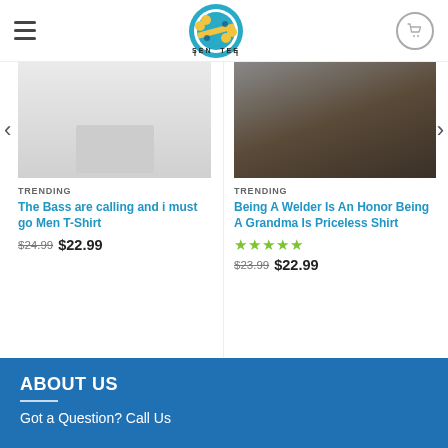SenTee store logo, hamburger menu, and cart icon
TRENDING
The Bass are calling and i must go Men T-Shirt
$24.99  $22.99
TRENDING
Being A Welder Is An Honor Being A Grandma Is Priceless Shirt
★★★★★
$23.99  $22.99
ABOUT US
Got a Question? Call Us